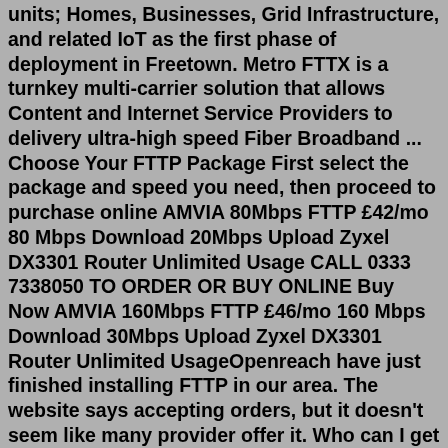units; Homes, Businesses, Grid Infrastructure, and related IoT as the first phase of deployment in Freetown. Metro FTTX is a turnkey multi-carrier solution that allows Content and Internet Service Providers to delivery ultra-high speed Fiber Broadband ... Choose Your FTTP Package First select the package and speed you need, then proceed to purchase online AMVIA 80Mbps FTTP £42/mo 80 Mbps Download 20Mbps Upload Zyxel DX3301 Router Unlimited Usage CALL 0333 7338050 TO ORDER OR BUY ONLINE Buy Now AMVIA 160Mbps FTTP £46/mo 160 Mbps Download 30Mbps Upload Zyxel DX3301 Router Unlimited UsageOpenreach have just finished installing FTTP in our area. The website says accepting orders, but it doesn't seem like many provider offer it. Who can I get a decent super fast FTTP offer from? I remember having 200Mbps Virgin for £30 about 6 years ago. Now I can't seem to get 100Mbps for less than £50 per month. As a result, FTTP provides a much faster and more reliable service compared to FTTC, as the